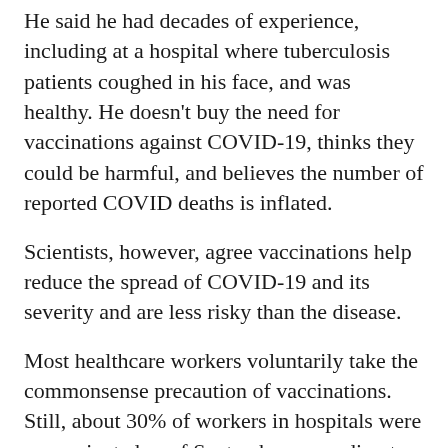He said he had decades of experience, including at a hospital where tuberculosis patients coughed in his face, and was healthy. He doesn't buy the need for vaccinations against COVID-19, thinks they could be harmful, and believes the number of reported COVID deaths is inflated.
Scientists, however, agree vaccinations help reduce the spread of COVID-19 and its severity and are less risky than the disease.
Most healthcare workers voluntarily take the commonsense precaution of vaccinations. Still, about 30% of workers in hospitals were unvaccinated as of September, according to a Centers for Disease Control study.
Last month, the Centers for Medicare and Medicaid Services and the Occupational Safety and Health Administration issued rules requiring vaccinations for healthcare workers and for businesses with 100 employees or more. Both rules are stalled, at least